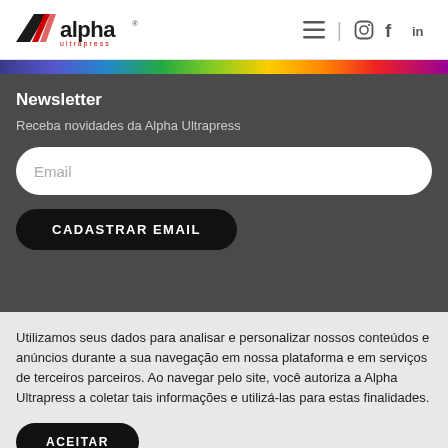[Figure (logo): Alpha Ultrapress logo with stylized racing stripe graphic and 'alpha ultrapress' text]
[Figure (infographic): Navigation icons: hamburger menu, vertical divider, Instagram icon, Facebook icon, LinkedIn icon]
[Figure (infographic): Multicolor horizontal gradient bar (purple, blue, green, yellow, orange, red, purple)]
Newsletter
Receba novidades da Alpha Ultrapress
Email
CADASTRAR EMAIL
Utilizamos seus dados para analisar e personalizar nossos conteúdos e anúncios durante a sua navegação em nossa plataforma e em serviços de terceiros parceiros. Ao navegar pelo site, você autoriza a Alpha Ultrapress a coletar tais informações e utilizá-las para estas finalidades.
ACEITAR